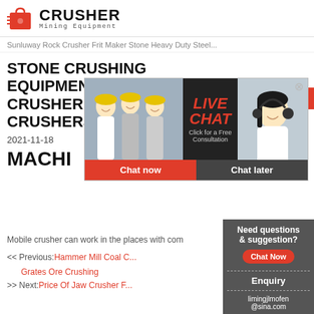[Figure (logo): Crusher Mining Equipment logo with red shopping cart icon and bold CRUSHER text]
Sunluway Rock Crusher Frit Maker Stone Heavy Duty Steel...
STONE CRUSHING EQUIPMENT, JAW CRUSHER, CONE CRUSHERS,
2021-11-18
MACHI
Mobile crusher can work in the places with com
[Figure (screenshot): Live Chat popup overlay with workers image on left, LIVE CHAT text and Chat now/Chat later buttons in center, customer service representative on right. Orange 24Hrs Online bar visible.]
<< Previous:Hammer Mill Coal C...
Grates Ore Crushing
>> Next:Price Of Jaw Crusher F...
[Figure (infographic): Right sidebar with Need questions & suggestion text, Chat Now button, Enquiry section, and limingjlmofen@sina.com email]